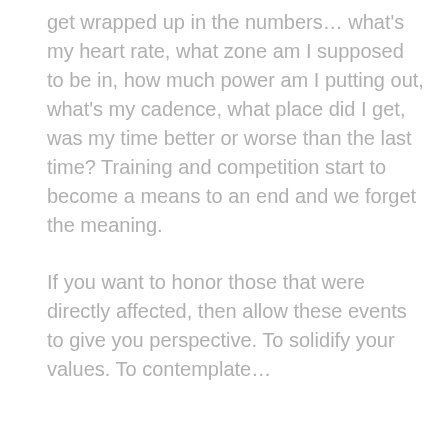get wrapped up in the numbers… what's my heart rate, what zone am I supposed to be in, how much power am I putting out, what's my cadence, what place did I get, was my time better or worse than the last time? Training and competition start to become a means to an end and we forget the meaning.
If you want to honor those that were directly affected, then allow these events to give you perspective. To solidify your values. To contemplate…